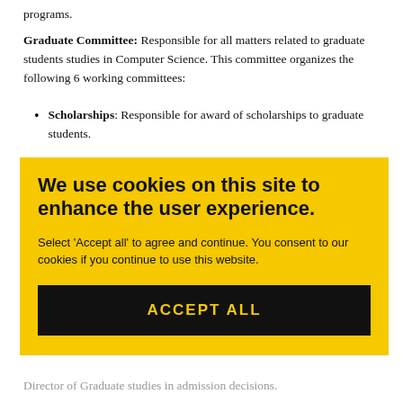programs.
Graduate Committee: Responsible for all matters related to graduate students studies in Computer Science. This committee organizes the following 6 working committees:
Scholarships: Responsible for award of scholarships to graduate students.
[Figure (screenshot): Cookie consent overlay with yellow background. Title: 'We use cookies on this site to enhance the user experience.' Body: "Select 'Accept all' to agree and continue. You consent to our cookies if you continue to use this website." Black button with yellow text: 'ACCEPT ALL']
Director of Graduate studies in admission decisions.